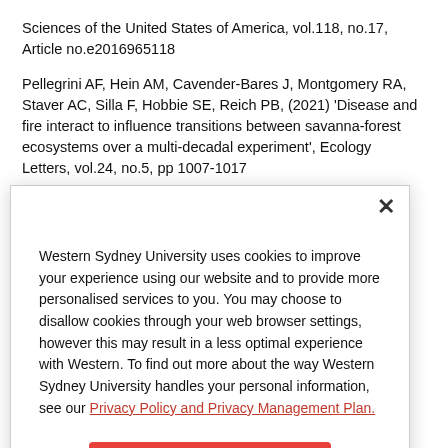Sciences of the United States of America, vol.118, no.17, Article no.e2016965118
Pellegrini AF, Hein AM, Cavender-Bares J, Montgomery RA, Staver AC, Silla F, Hobbie SE, Reich PB, (2021) 'Disease and fire interact to influence transitions between savanna-forest ecosystems over a multi-decadal experiment', Ecology Letters, vol.24, no.5, pp 1007-1017
Pellegrini AFA, Refsland T, Averill C, Terrer C, Staver AC, Brockway
Western Sydney University uses cookies to improve your experience using our website and to provide more personalised services to you. You may choose to disallow cookies through your web browser settings, however this may result in a less optimal experience with Western. To find out more about the way Western Sydney University handles your personal information, see our Privacy Policy and Privacy Management Plan.
Accept All Cookies